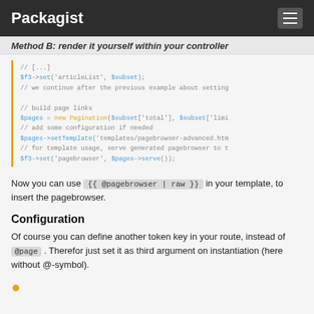Packagist
Method B: render it yourself within your controller
[Figure (screenshot): Code block showing PHP snippet with $f3->set, Pagination, setTemplate, and serve() calls, with orange left border]
Now you can use {{ @pagebrowser | raw }} in your template, to insert the pagebrowser.
Configuration
Of course you can define another token key in your route, instead of @page . Therefor just set it as third argument on instantiation (here without @-symbol).